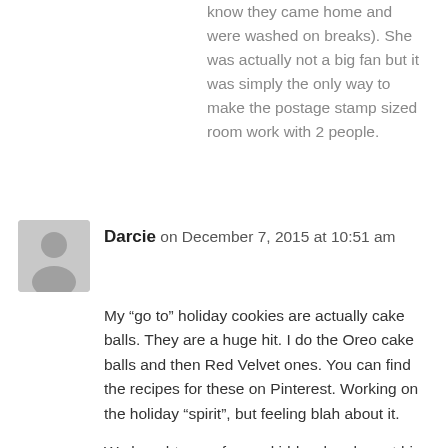know they came home and were washed on breaks). She was actually not a big fan but it was simply the only way to make the postage stamp sized room work with 2 people.
[Figure (illustration): Generic user avatar placeholder — grey silhouette of a person on a grey background]
Darcie on December 7, 2015 at 10:51 am
My “go to” holiday cookies are actually cake balls. They are a huge hit. I do the Oreo cake balls and then Red Velvet ones. You can find the recipes for these on Pinterest. Working on the holiday “spirit”, but feeling blah about it.
We bought a car for our kiddo when he got his license. However, he attends a private school about 15 minutes away and has extra curricular stuff, so it was a needed sanity saver for me with three kids. We got him the cheapest, safe car we could afford. However, his campus parking lot is